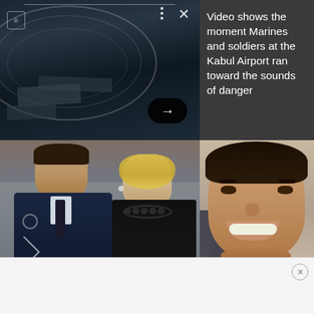[Figure (screenshot): Aerial video still showing dark overhead view of Kabul Airport area with a circular arc structure; video player UI with dots menu and X close button and forward arrow button]
Video shows the moment Marines and soldiers at the Kabul Airport ran toward the sounds of danger
[Figure (photo): Photo of a man in military dress uniform (dark blue with rank chevrons) standing with a woman in a black dress with bead necklace, outdoors]
[Figure (photo): Close-up selfie photo of a smiling man wearing a backpack]